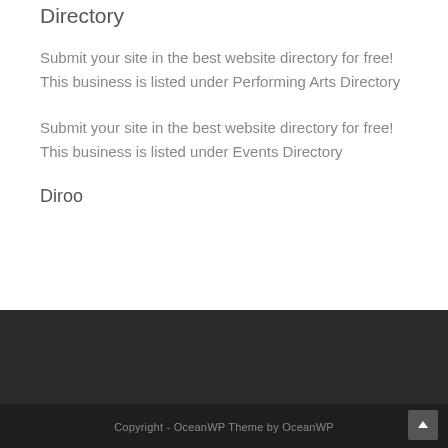Directory
Submit your site in the best website directory for free! This business is listed under Performing Arts Directory
Submit your site in the best website directory for free! This business is listed under Events Directory
Diroo
Copyright - OceanWP Theme by OceanWP